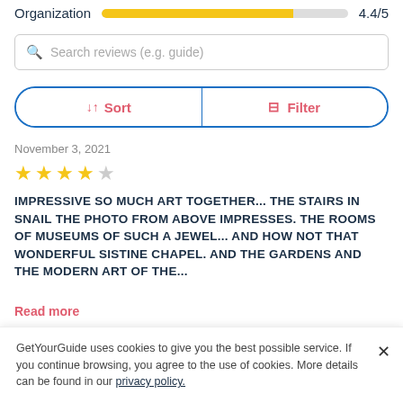Organization  4.4/5
Search reviews (e.g. guide)
↓↑ Sort    ≡ Filter
November 3, 2021
[Figure (other): 4 gold stars rating]
IMPRESSIVE SO MUCH ART TOGETHER... THE STAIRS IN SNAIL THE PHOTO FROM ABOVE IMPRESSES. THE ROOMS OF MUSEUMS OF SUCH A JEWEL... AND HOW NOT THAT WONDERFUL SISTINE CHAPEL. AND THE GARDENS AND THE MODERN ART OF THE...
Read more
Aurora – Spain
GetYourGuide uses cookies to give you the best possible service. If you continue browsing, you agree to the use of cookies. More details can be found in our privacy policy.